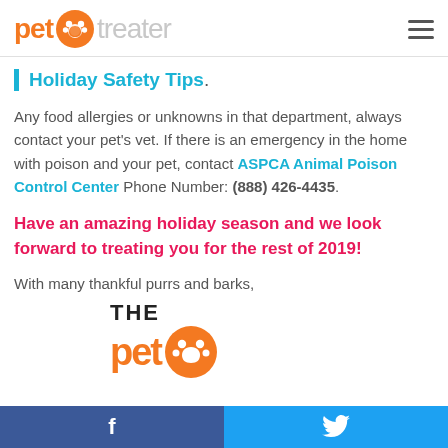pet treater
Holiday Safety Tips.
Any food allergies or unknowns in that department, always contact your pet's vet. If there is an emergency in the home with poison and your pet, contact ASPCA Animal Poison Control Center Phone Number: (888) 426-4435.
Have an amazing holiday season and we look forward to treating you for the rest of 2019!
With many thankful purrs and barks,
[Figure (logo): Pet Treater logo — orange 'pet' text with paw print circle and gray 'treater' text, shown large at bottom of page]
f  (Facebook)  |  Twitter bird icon